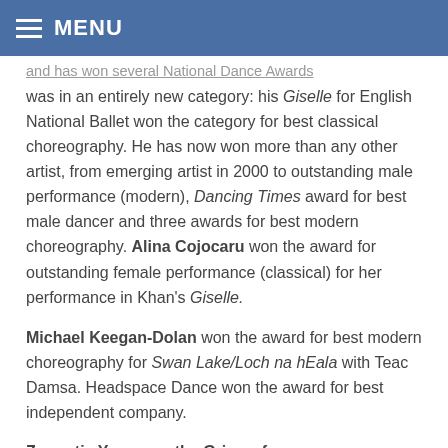MENU
...and has won several National Dance Awards was in an entirely new category: his Giselle for English National Ballet won the category for best classical choreography. He has now won more than any other artist, from emerging artist in 2000 to outstanding male performance (modern), Dancing Times award for best male dancer and three awards for best modern choreography. Alina Cojocaru won the award for outstanding female performance (classical) for her performance in Khan's Giselle.
Michael Keegan-Dolan won the award for best modern choreography for Swan Lake/Loch na hEala with Teac Damsa. Headspace Dance won the award for best independent company.
Zoonotic...